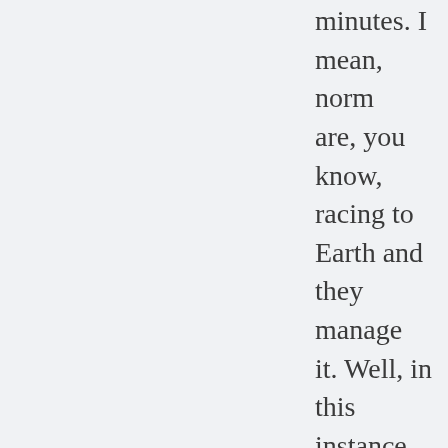minutes. I mean, normally are, you know, racing to Earth and they manage it. Well, in this instance, don't. But, what we have end of the movie is we h back-up Earth and there another Earth that's bei by these planet-builders we discover that in fact original Earth was a gia computer built to calcula ultimate question. And w another Earth and we g another shot at it and I t there's something really